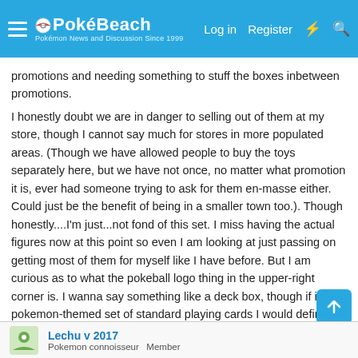PokéBeach — Log in  Register
promotions and needing something to stuff the boxes inbetween promotions.

I honestly doubt we are in danger to selling out of them at my store, though I cannot say much for stores in more populated areas. (Though we have allowed people to buy the toys separately here, but we have not once, no matter what promotion it is, ever had someone trying to ask for them en-masse either. Could just be the benefit of being in a smaller town too.). Though honestly....I'm just...not fond of this set. I miss having the actual figures now at this point so even I am looking at just passing on getting most of them for myself like I have before. But I am curious as to what the pokeball logo thing in the upper-right corner is. I wanna say something like a deck box, though if it is a pokemon-themed set of standard playing cards I would definitely snatch that in a moment.
Lechu v 2017
Pokemon connoisseur  Member